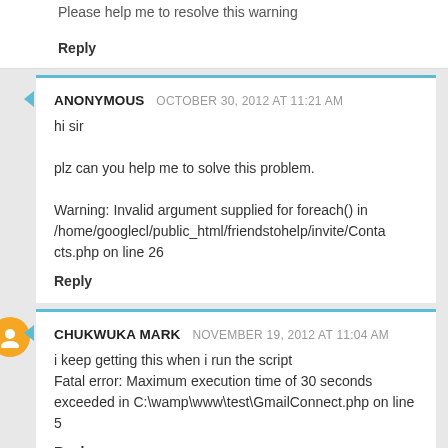Please help me to resolve this warning
Reply
ANONYMOUS  OCTOBER 30, 2012 AT 11:21 AM
hi sir

plz can you help me to solve this problem.

Warning: Invalid argument supplied for foreach() in /home/googlecl/public_html/friendstohelp/invite/Contacts.php on line 26
Reply
CHUKWUKA MARK  NOVEMBER 19, 2012 AT 11:04 AM
i keep getting this when i run the script
Fatal error: Maximum execution time of 30 seconds exceeded in C:\wamp\www\test\GmailConnect.php on line 5
Reply